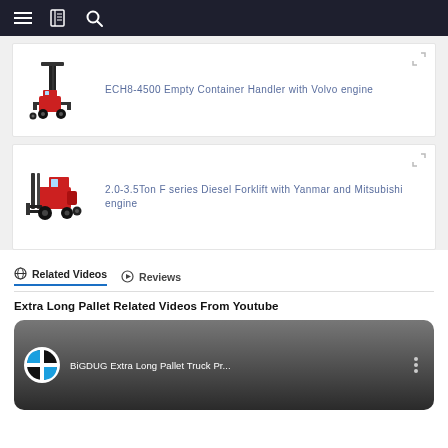Navigation bar with menu, book icon, and search icon
[Figure (photo): ECH8-4500 Empty Container Handler machine photo - tall red and black industrial machine]
ECH8-4500 Empty Container Handler with Volvo engine
[Figure (photo): 2.0-3.5Ton F series Diesel Forklift - red forklift machine]
2.0-3.5Ton F series Diesel Forklift with Yanmar and Mitsubishi engine
Related Videos | Reviews
Extra Long Pallet Related Videos From Youtube
[Figure (screenshot): YouTube video thumbnail for BiGDUG Extra Long Pallet Truck Pr... with BiGDUG logo (blue and white cross on black circle) and three-dot menu]